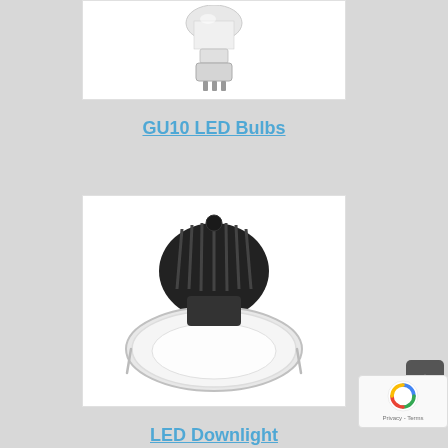[Figure (photo): GU10 LED bulb product photo on white background]
GU10 LED Bulbs
[Figure (photo): LED Downlight product photo showing black heat sink with white round downlight fixture on white background]
LED Downlight